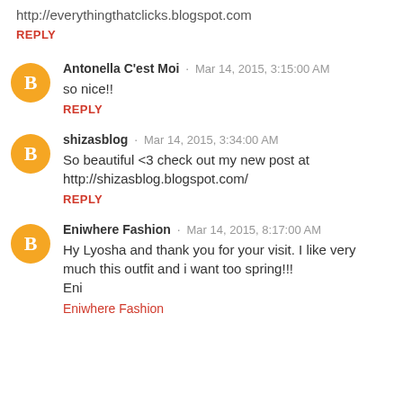http://everythingthatclicks.blogspot.com
REPLY
Antonella C'est Moi · Mar 14, 2015, 3:15:00 AM
so nice!!
REPLY
shizasblog · Mar 14, 2015, 3:34:00 AM
So beautiful <3 check out my new post at http://shizasblog.blogspot.com/
REPLY
Eniwhere Fashion · Mar 14, 2015, 8:17:00 AM
Hy Lyosha and thank you for your visit. I like very much this outfit and i want too spring!!!
Eni
Eniwhere Fashion